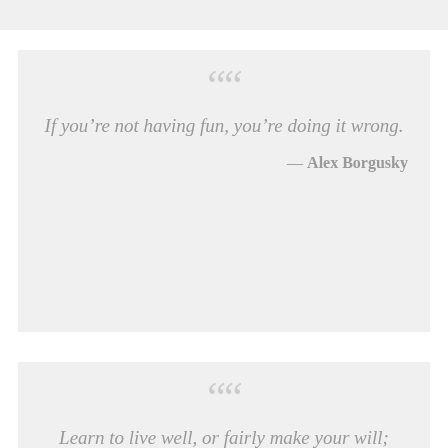If you’re not having fun, you’re doing it wrong.
— Alex Borgusky
Learn to live well, or fairly make your will;